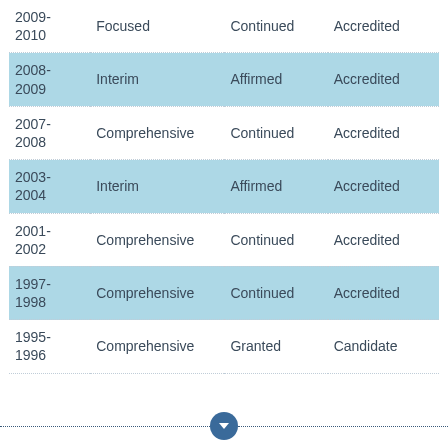| 2009-2010 | Focused | Continued | Accredited |
| 2008-2009 | Interim | Affirmed | Accredited |
| 2007-2008 | Comprehensive | Continued | Accredited |
| 2003-2004 | Interim | Affirmed | Accredited |
| 2001-2002 | Comprehensive | Continued | Accredited |
| 1997-1998 | Comprehensive | Continued | Accredited |
| 1995-1996 | Comprehensive | Granted | Candidate |